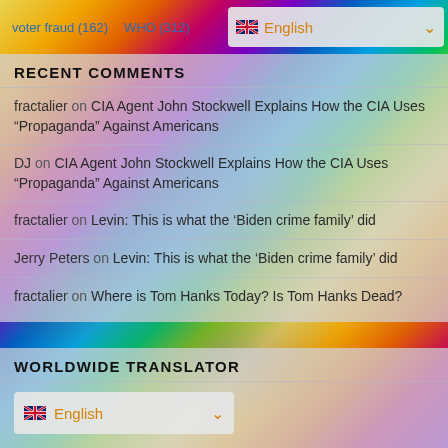voter fraud (162)  WHO (312)  English
RECENT COMMENTS
fractalier on CIA Agent John Stockwell Explains How the CIA Uses “Propaganda” Against Americans
DJ on CIA Agent John Stockwell Explains How the CIA Uses “Propaganda” Against Americans
fractalier on Levin: This is what the ‘Biden crime family’ did
Jerry Peters on Levin: This is what the ‘Biden crime family’ did
fractalier on Where is Tom Hanks Today? Is Tom Hanks Dead?
WORLDWIDE TRANSLATOR
English